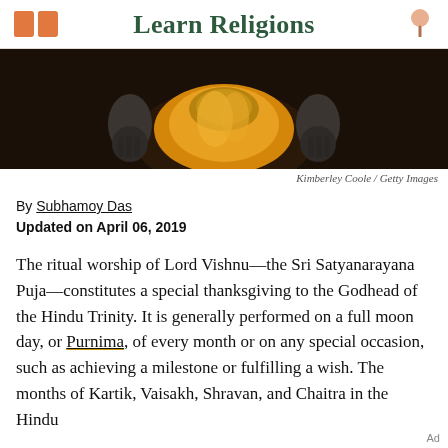Learn Religions
[Figure (photo): Close-up photo of a Hindu deity statue dressed in a bright orange/gold garment, with dark stone hands visible on the sides]
Kimberley Coole / Getty Images
By Subhamoy Das
Updated on April 06, 2019
The ritual worship of Lord Vishnu—the Sri Satyanarayana Puja—constitutes a special thanksgiving to the Godhead of the Hindu Trinity. It is generally performed on a full moon day, or Purnima, of every month or on any special occasion, such as achieving a milestone or fulfilling a wish. The months of Kartik, Vaisakh, Shravan, and Chaitra in the Hindu